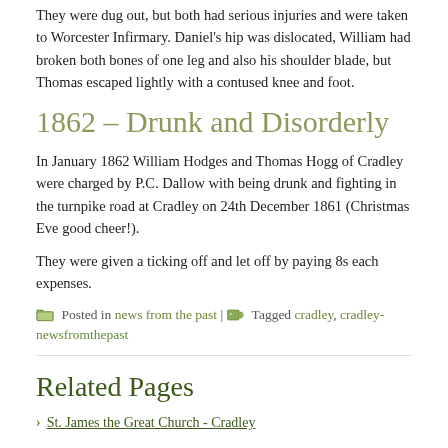They were dug out, but both had serious injuries and were taken to Worcester Infirmary. Daniel's hip was dislocated, William had broken both bones of one leg and also his shoulder blade, but Thomas escaped lightly with a contused knee and foot.
1862 – Drunk and Disorderly
In January 1862 William Hodges and Thomas Hogg of Cradley were charged by P.C. Dallow with being drunk and fighting in the turnpike road at Cradley on 24th December 1861 (Christmas Eve good cheer!).
They were given a ticking off and let off by paying 8s each expenses.
Posted in news from the past | Tagged cradley, cradley-newsfromthepast
Related Pages
St. James the Great Church - Cradley
Cradley